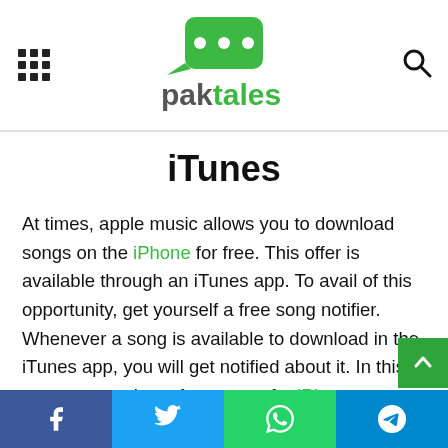paktales
iTunes
At times, apple music allows you to download songs on the iPhone for free. This offer is available through an iTunes app. To avail of this opportunity, get yourself a free song notifier. Whenever a song is available to download in the iTunes app, you will get notified about it. In this way, you can have free songs for iPhone.
Share buttons: Facebook, Twitter, WhatsApp, Telegram